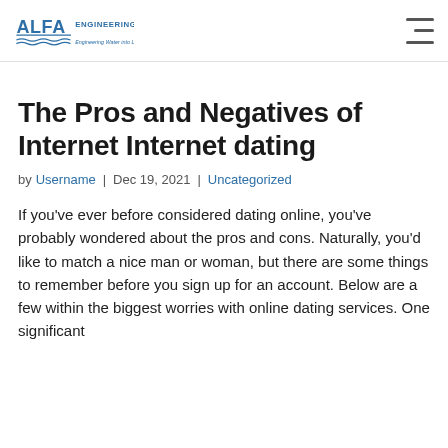ALFA ENGINEERING — Engineering Water into Life
The Pros and Negatives of Internet Internet dating
by Username | Dec 19, 2021 | Uncategorized
If you've ever before considered dating online, you've probably wondered about the pros and cons. Naturally, you'd like to match a nice man or woman, but there are some things to remember before you sign up for an account. Below are a few within the biggest worries with online dating services. One significant